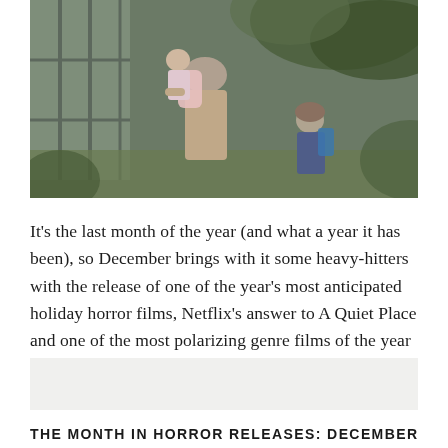[Figure (photo): Two people, one carrying a child with a backpack, walking outdoors through a wooded/garden area near a glass structure. Scene appears to be from a horror film (Bird Box style).]
It's the last month of the year (and what a year it has been), so December brings with it some heavy-hitters with the release of one of the year's most anticipated holiday horror films, Netflix's answer to A Quiet Place and one of the most polarizing genre films of the year from Lars von Trier. [...]
READ MORE →
THE MONTH IN HORROR RELEASES: DECEMBER